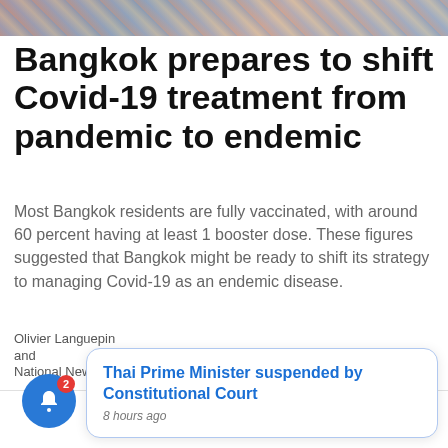[Figure (photo): Cropped top portion of a colorful photo, appears to show people or crowd scene]
Bangkok prepares to shift Covid-19 treatment from pandemic to endemic
Most Bangkok residents are fully vaccinated, with around 60 percent having at least 1 booster dose. These figures suggested that Bangkok might be ready to shift its strategy to managing Covid-19 as an endemic disease.
Olivier Languepin
and
National News Bureau of Thailand
· May 6, 2022
Thai Prime Minister suspended by Constitutional Court
8 hours ago